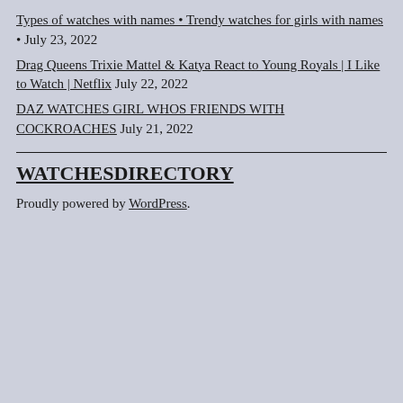Types of watches with names • Trendy watches for girls with names • July 23, 2022
Drag Queens Trixie Mattel & Katya React to Young Royals | I Like to Watch | Netflix July 22, 2022
DAZ WATCHES GIRL WHOS FRIENDS WITH COCKROACHES July 21, 2022
WATCHESDIRECTORY
Proudly powered by WordPress.